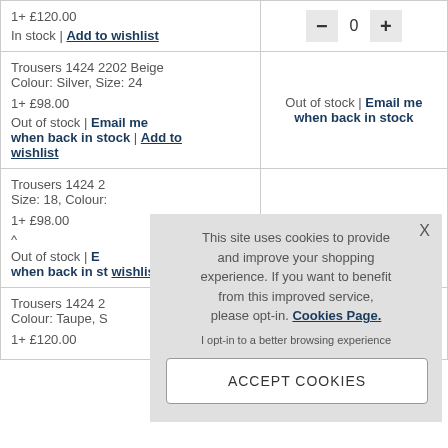| Product | Action |
| --- | --- |
| 1+ £120.00
In stock | Add to wishlist | — 0 + |
| Trousers 1424 2202 Beige
Colour: Silver, Size: 24
1+ £98.00
Out of stock | Email me when back in stock | Add to wishlist | Out of stock | Email me when back in stock |
| Trousers 1424 2...
Size: 18, Colour:...
1+ £98.00
Out of stock | E... when back in st... wishlist |  |
| Trousers 1424 2...
Colour: Taupe, S...
1+ £120.00 | Out of stock | Email me |
This site uses cookies to provide and improve your shopping experience. If you want to benefit from this improved service, please opt-in. Cookies Page.
I opt-in to a better browsing experience
ACCEPT COOKIES